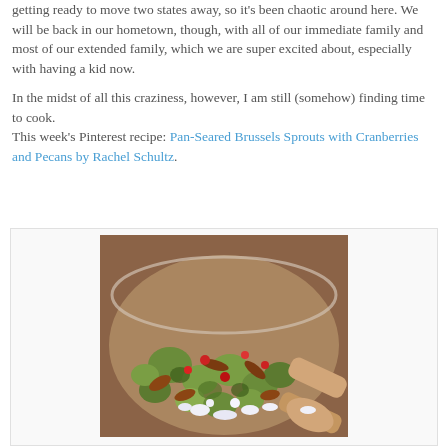getting ready to move two states away, so it's been chaotic around here. We will be back in our hometown, though, with all of our immediate family and most of our extended family, which we are super excited about, especially with having a kid now.
In the midst of all this craziness, however, I am still (somehow) finding time to cook.
This week's Pinterest recipe: Pan-Seared Brussels Sprouts with Cranberries and Pecans by Rachel Schultz.
[Figure (photo): A close-up food photo of pan-seared Brussels sprouts with cranberries, pecans, and crumbled blue cheese in a glass bowl, with a wooden spoon visible.]